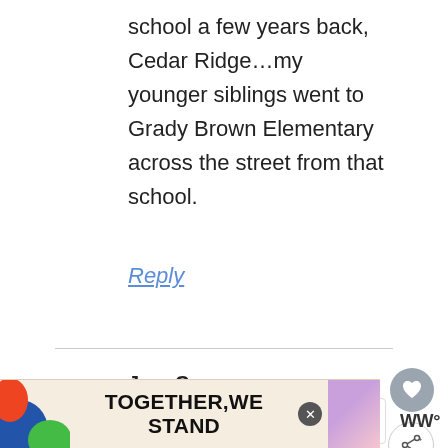school a few years back, Cedar Ridge…my younger siblings went to Grady Brown Elementary across the street from that school.
Reply
JennC says
May 9, 2008 at 3:09 pm
is the “hog festival” worth going to hillsborough in the middle of june?
[Figure (other): Advertisement banner reading TOGETHER WE STAND with colorful graphic elements on left and right, and a close button]